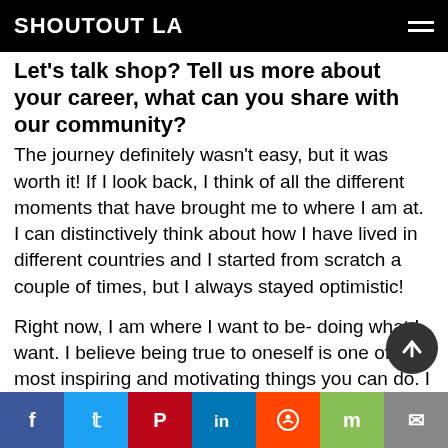SHOUTOUT LA
Let's talk shop? Tell us more about your career, what can you share with our community?
The journey definitely wasn't easy, but it was worth it! If I look back, I think of all the different moments that have brought me to where I am at. I can distinctively think about how I have lived in different countries and I started from scratch a couple of times, but I always stayed optimistic!
Right now, I am where I want to be- doing what I want. I believe being true to oneself is one of the most inspiring and motivating things you can do. I think that's what makes us unique.